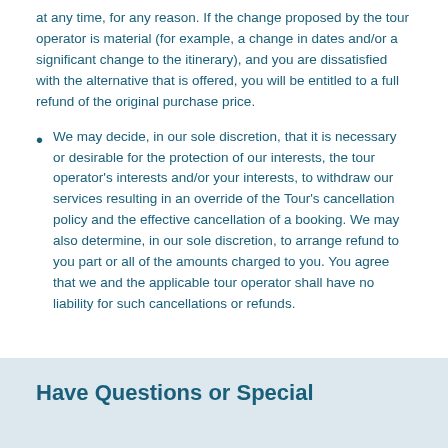at any time, for any reason. If the change proposed by the tour operator is material (for example, a change in dates and/or a significant change to the itinerary), and you are dissatisfied with the alternative that is offered, you will be entitled to a full refund of the original purchase price.
We may decide, in our sole discretion, that it is necessary or desirable for the protection of our interests, the tour operator's interests and/or your interests, to withdraw our services resulting in an override of the Tour's cancellation policy and the effective cancellation of a booking. We may also determine, in our sole discretion, to arrange refund to you part or all of the amounts charged to you. You agree that we and the applicable tour operator shall have no liability for such cancellations or refunds.
Have Questions or Special